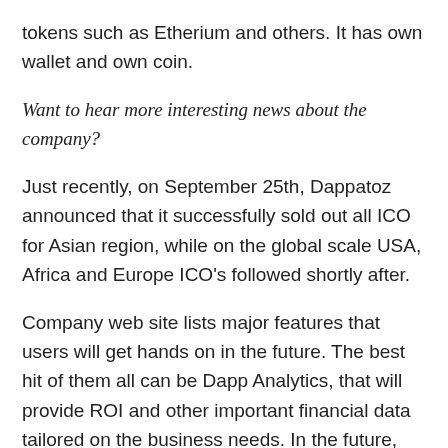tokens such as Etherium and others. It has own wallet and own coin.
Want to hear more interesting news about the company?
Just recently, on September 25th, Dappatoz announced that it successfully sold out all ICO for Asian region, while on the global scale USA, Africa and Europe ICO's followed shortly after.
Company web site lists major features that users will get hands on in the future. The best hit of them all can be Dapp Analytics, that will provide ROI and other important financial data tailored on the business needs. In the future, company says they will plan to